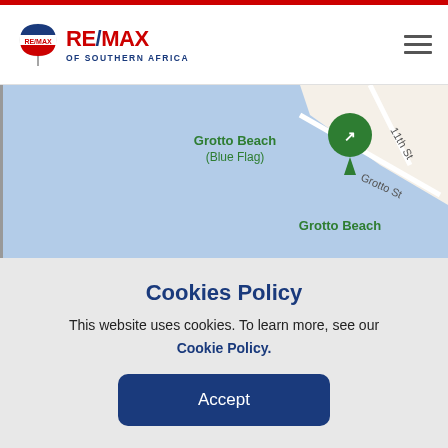RE/MAX OF SOUTHERN AFRICA
[Figure (map): Google Maps view showing Grotto Beach (Blue Flag) location with streets labeled '11th St', 'Grotto St', and 'Grotto Beach'. Map is predominantly light blue representing water/beach area with white roads.]
Contact Agent
Cookies Policy
This website uses cookies. To learn more, see our Cookie Policy.
Accept